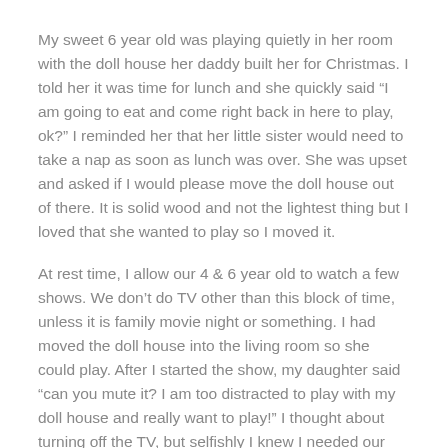My sweet 6 year old was playing quietly in her room with the doll house her daddy built her for Christmas.  I told her it was time for lunch and she quickly said “I am going to eat and come right back in here to play, ok?”  I reminded her that her little sister would need to take a nap as soon as lunch was over.  She was upset and asked if I would please move the doll house out of there.  It is solid wood and not the lightest thing but I loved that she wanted to play so I moved it.
At rest time, I allow our 4 & 6 year old to watch a few shows.  We don’t do TV other than this block of time, unless it is family movie night or something.  I had moved the doll house into the living room so she could play.  After I started the show, my daughter said “can you mute it?  I am too distracted to play with my doll house and really want to play!”  I thought about turning off the TV, but selfishly  I knew I needed our sweet boy to stay still for an hour so I could get